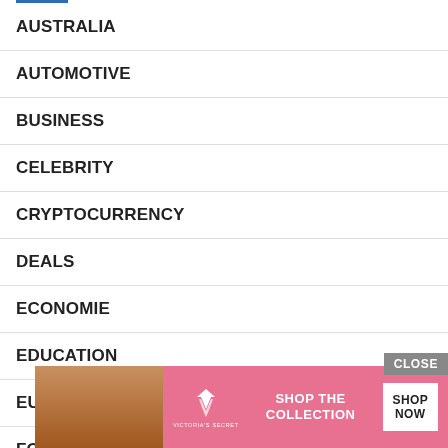AUSTRALIA
AUTOMOTIVE
BUSINESS
CELEBRITY
CRYPTOCURRENCY
DEALS
ECONOMIE
EDUCATION
EURO
FOREX
GAMING
[Figure (screenshot): Victoria's Secret advertisement banner with CLOSE button overlay. Shows a model, VS logo, 'SHOP THE COLLECTION' text, and 'SHOP NOW' button.]